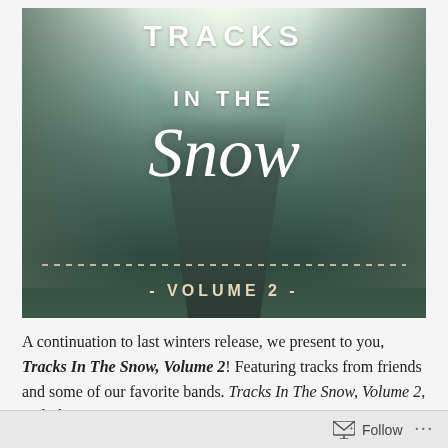[Figure (illustration): Album cover for 'Tracks In The Snow, Volume 2' showing a snowy road lined with bare winter trees, with decorative script lettering and dotted border. Text overlaid: 'TRACKS IN THE SNOW' in bold uppercase, 'Snow' in large cursive script, and '- VOLUME 2 -' at the bottom in spaced uppercase letters above a dotted line.]
A continuation to last winters release, we present to you, Tracks In The Snow, Volume 2! Featuring tracks from friends and some of our favorite bands. Tracks In The Snow, Volume 2, includes songs